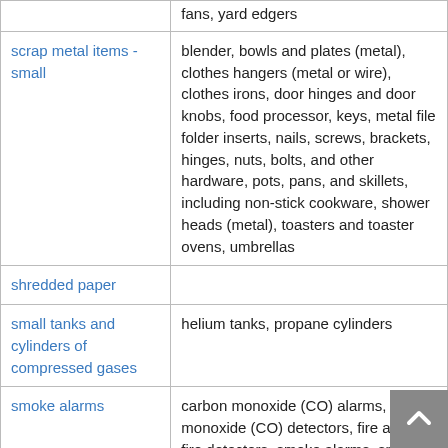| Category | Examples |
| --- | --- |
|  | fans, yard edgers |
| scrap metal items - small | blender, bowls and plates (metal), clothes hangers (metal or wire), clothes irons, door hinges and door knobs, food processor, keys, metal file folder inserts, nails, screws, brackets, hinges, nuts, bolts, and other hardware, pots, pans, and skillets, including non-stick cookware, shower heads (metal), toasters and toaster ovens, umbrellas |
| shredded paper |  |
| small tanks and cylinders of compressed gases | helium tanks, propane cylinders |
| smoke alarms | carbon monoxide (CO) alarms, carbon monoxide (CO) detectors, fire alarms, fire detectors, smoke alarms, smoke detectors |